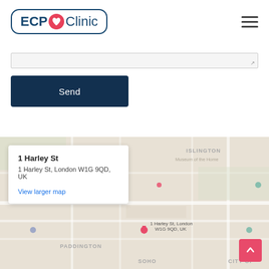[Figure (logo): ECP Clinic logo with heart icon inside a rounded rectangle border]
[Figure (screenshot): Textarea input field (form element)]
Send
[Figure (map): Google Maps showing 1 Harley St, London W1G 9QD, UK with areas ISLINGTON, PADDINGTON, SOHO, CITY OF visible. Map info popup shows address and 'View larger map' link. Red scroll-to-top button in bottom right.]
1 Harley St
1 Harley St, London W1G 9QD, UK
View larger map